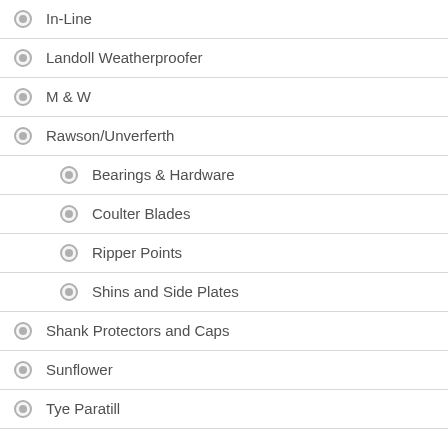In-Line
Landoll Weatherproofer
M & W
Rawson/Unverferth
Bearings & Hardware
Coulter Blades
Ripper Points
Shins and Side Plates
Shank Protectors and Caps
Sunflower
Tye Paratill